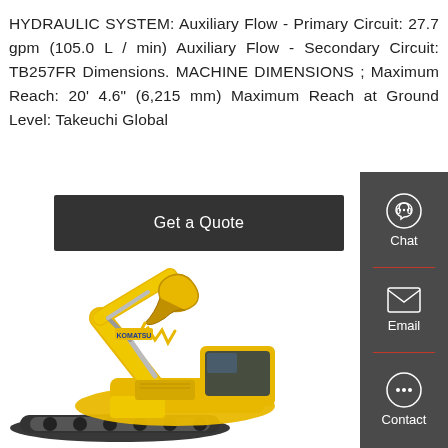HYDRAULIC SYSTEM: Auxiliary Flow - Primary Circuit: 27.7 gpm (105.0 L / min) Auxiliary Flow - Secondary Circuit: TB257FR Dimensions. MACHINE DIMENSIONS ; Maximum Reach: 20' 4.6" (6,215 mm) Maximum Reach at Ground Level: Takeuchi Global
[Figure (other): Dark button with white text reading 'Get a Quote']
[Figure (photo): Large yellow Komatsu excavator/crawler on white background, showing boom, arm, bucket, undercarriage, and cab]
[Figure (infographic): Dark grey sidebar with three contact icons and labels: Chat (headset icon), Email (envelope icon), Contact (speech bubble icon), separated by red horizontal dividers]